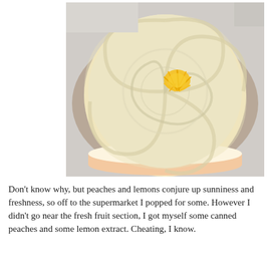[Figure (photo): Top-down view of a round cake with pale cream/yellow frosting swirled in a spiral pattern, topped with a small mound of bright yellow lemon zest in the center, sitting on a taupe/brown plate.]
Don't know why, but peaches and lemons conjure up sunniness and freshness, so off to the supermarket I popped for some. However I didn't go near the fresh fruit section, I got myself some canned peaches and some lemon extract. Cheating, I know.